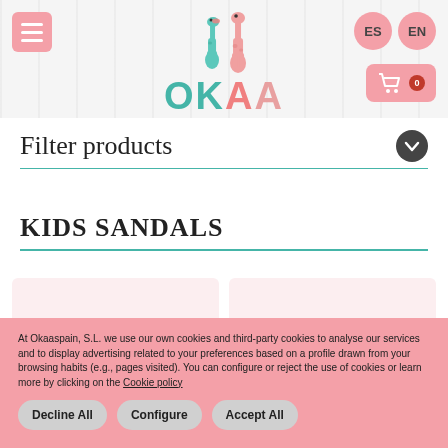[Figure (logo): OKAA children's brand logo with two cartoon giraffes (teal and pink) above the text OKAA in teal and pink letters]
Filter products
KIDS SANDALS
[Figure (illustration): Product card placeholder showing small giraffe illustration on pink background]
[Figure (illustration): Product card placeholder showing small giraffe illustration on pink background]
At Okaaspain, S.L. we use our own cookies and third-party cookies to analyse our services and to display advertising related to your preferences based on a profile drawn from your browsing habits (e.g., pages visited). You can configure or reject the use of cookies or learn more by clicking on the Cookie policy
Decline All
Configure
Accept All